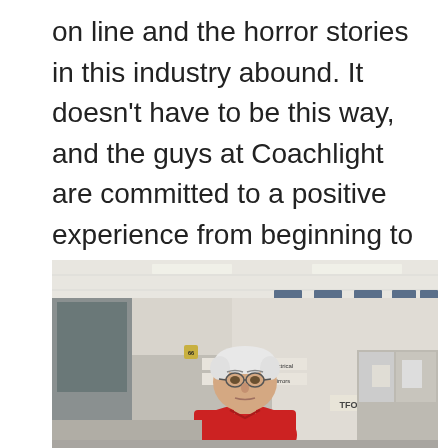on line and the horror stories in this industry abound. It doesn't have to be this way, and the guys at Coachlight are committed to a positive experience from beginning to end.
[Figure (photo): An older man with white hair and glasses wearing a red polo shirt stands in what appears to be an auto parts or RV accessories retail store. Behind him are product shelves, signage with categories like 'Towing', 'Electrical', 'Hitches', 'Mirrors', and several blue banners hanging from the ceiling. A sign partially reading 'TFORD' is visible.]